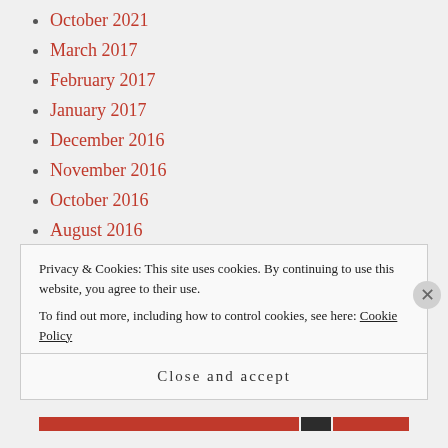October 2021
March 2017
February 2017
January 2017
December 2016
November 2016
October 2016
August 2016
July 2016
June 2016
May 2016
March 2016
Privacy & Cookies: This site uses cookies. By continuing to use this website, you agree to their use.
To find out more, including how to control cookies, see here: Cookie Policy
Close and accept